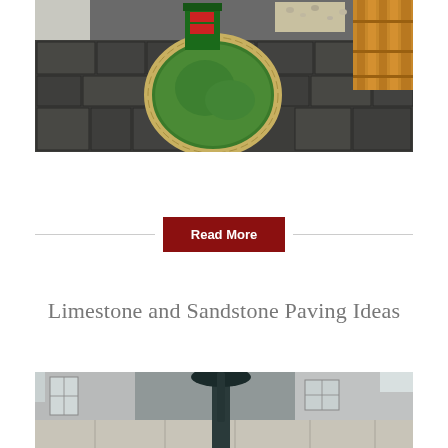[Figure (photo): Overhead view of a paved garden patio with dark slate/flagstone tiles and a circular grass lawn area edged with light-coloured bricks in the centre. Green wheelie bin visible in the background, wooden fence panels on the right side, white wall on the left.]
Read More
Limestone and Sandstone Paving Ideas
[Figure (photo): Ground-level view of a paved outdoor area with light-coloured limestone or sandstone slabs. A dark green garden parasol/umbrella is visible in the centre, with white rendered walls, a window, and outdoor furniture in the background.]